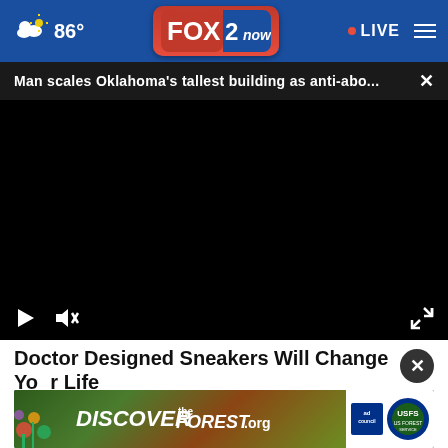[Figure (screenshot): FOX 2 Now news website navigation bar with weather showing 86°, FOX 2 now logo in red, LIVE indicator with red dot, and hamburger menu on blue background]
Man scales Oklahoma's tallest building as anti-abo...
[Figure (screenshot): Black video player area with play button and mute button controls at bottom left, expand icon at bottom right]
Doctor Designed Sneakers Will Change Your Life
Sursell
[Figure (screenshot): Discover the Forest .org banner advertisement with forest imagery, Ad Council and US Forest Service logos]